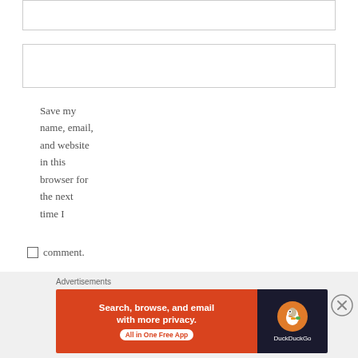EMAIL *
WEBSITE
Save my name, email, and website in this browser for the next time I comment.
Advertisements
[Figure (screenshot): DuckDuckGo advertisement banner: orange left side with 'Search, browse, and email with more privacy. All in One Free App' text and white CTA button; dark right side with DuckDuckGo duck logo and brand name. Close button (X in circle) on right side.]